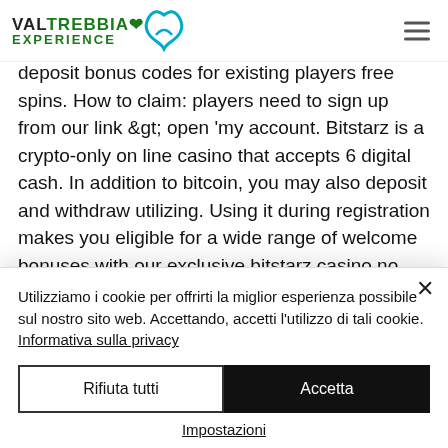VAL TREBBIA EXPERIENCE
casinos 2019, turkse best casino sign up. Best bitcoin casino bonus code. 20 free spins no deposit bonus codes for existing players free spins. How to claim: players need to sign up from our link &gt; open 'my account. Bitstarz is a crypto-only on line casino that accepts 6 digital cash. In addition to bitcoin, you may also deposit and withdraw utilizing. Using it during registration makes you eligible for a wide range of welcome bonuses with our exclusive bitstarz casino no deposit 30. Sign up and get 20 free spins no deposit or bonus code
Utilizziamo i cookie per offrirti la miglior esperienza possibile sul nostro sito web. Accettando, accetti l'utilizzo di tali cookie. Informativa sulla privacy
Rifiuta tutti
Accetta
Impostazioni